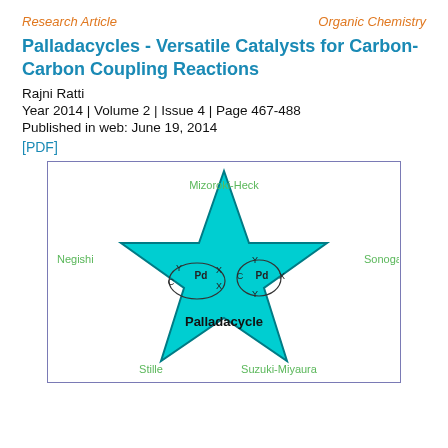Research Article
Organic Chemistry
Palladacycles - Versatile Catalysts for Carbon-Carbon Coupling Reactions
Rajni Ratti
Year 2014 | Volume 2 | Issue 4 | Page 467-488
Published in web: June 19, 2014
[PDF]
[Figure (illustration): A cyan star shape with 'Palladacycle' written in the center and chemical structure diagrams of palladacycles inside. The five points of the star are labeled with reaction types: Mizoroki-Heck (top), Sonogashira (right), Suzuki-Miyaura (bottom right), Stille (bottom left), Negishi (left). Chemical structures show Pd center with C, Y, X ligands.]